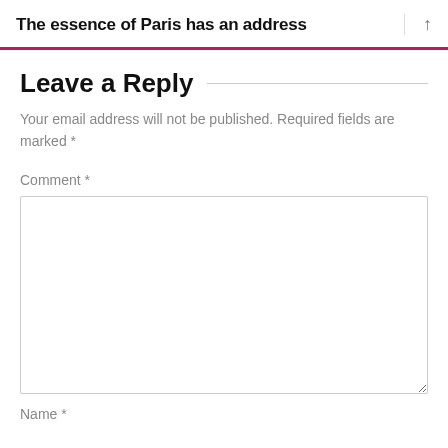The essence of Paris has an address
Leave a Reply
Your email address will not be published. Required fields are marked *
Comment *
Name *